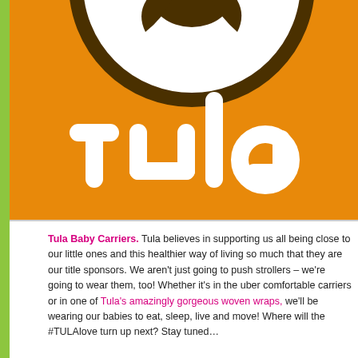[Figure (logo): Tula baby carrier logo on orange background — partial view showing stylized baby/bird icon in brown and white circle at top, and white rounded letters 'tula' below, cropped on right side.]
Tula Baby Carriers. Tula believes in supporting us all being close to our little ones and this healthier way of living so much that they are our title sponsors. We aren't just going to push strollers – we're going to wear them, too! Whether it's in the uber comfortable carriers or in one of Tula's amazingly gorgeous woven wraps, we'll be wearing our babies to eat, sleep, live and move! Where will the #TULAlove turn up next? Stay tuned…